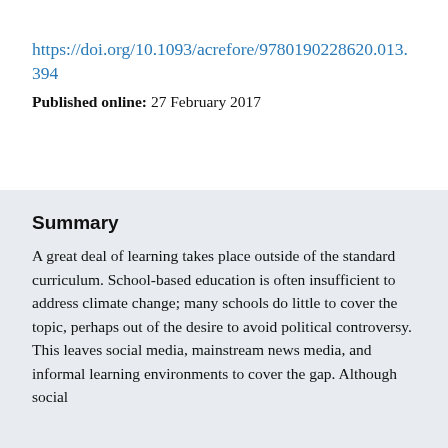https://doi.org/10.1093/acrefore/9780190228620.013.394
Published online: 27 February 2017
Summary
A great deal of learning takes place outside of the standard curriculum. School-based education is often insufficient to address climate change; many schools do little to cover the topic, perhaps out of the desire to avoid political controversy. This leaves social media, mainstream news media, and informal learning environments to cover the gap. Although social